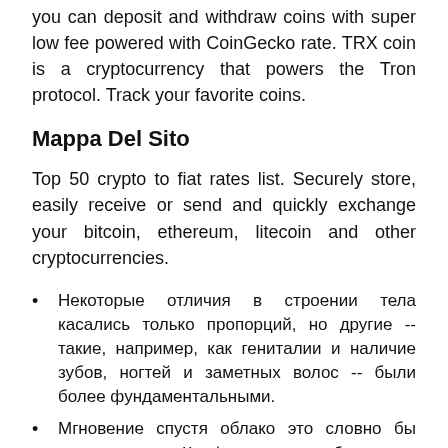you can deposit and withdraw coins with super low fee powered with CoinGecko rate. TRX coin is a cryptocurrency that powers the Tron protocol. Track your favorite coins.
Mappa Del Sito
Top 50 crypto to fiat rates list. Securely store, easily receive or send and quickly exchange your bitcoin, ethereum, litecoin and other cryptocurrencies.
Некоторые отличия в строении тела касались только пропорций, но другие -- такие, например, как гениталии и наличие зубов, ногтей и заметных волос -- были более фундаментальными.
Мгновение спустя облако это словно бы взорвалось, и Криф скользнул обратно по поверхности воды -- да так стремительно, что глаз почти и не отметил какого-либо движения.
Хилвар, как стало ему известно, был убежден в возможности такого хода дела, хотя его